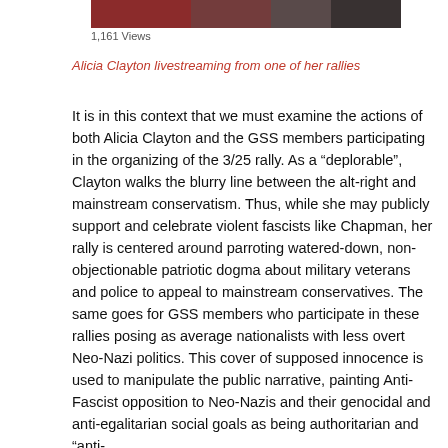[Figure (photo): Partial image of a person livestreaming, cropped at top of page]
1,161 Views
Alicia Clayton livestreaming from one of her rallies
It is in this context that we must examine the actions of both Alicia Clayton and the GSS members participating in the organizing of the 3/25 rally. As a “deplorable”, Clayton walks the blurry line between the alt-right and mainstream conservatism. Thus, while she may publicly support and celebrate violent fascists like Chapman, her rally is centered around parroting watered-down, non-objectionable patriotic dogma about military veterans and police to appeal to mainstream conservatives. The same goes for GSS members who participate in these rallies posing as average nationalists with less overt Neo-Nazi politics. This cover of supposed innocence is used to manipulate the public narrative, painting Anti-Fascist opposition to Neo-Nazis and their genocidal and anti-egalitarian social goals as being authoritarian and “anti-